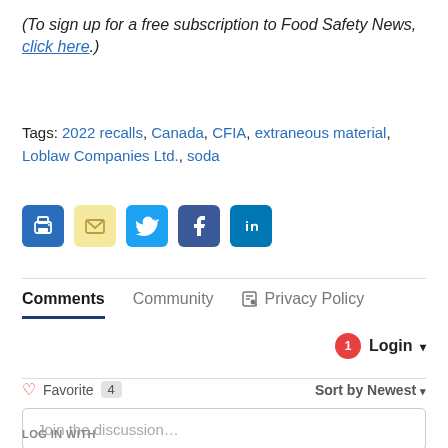(To sign up for a free subscription to Food Safety News, click here.)
Tags: 2022 recalls, Canada, CFIA, extraneous material, Loblaw Companies Ltd., soda
[Figure (infographic): Social sharing icons: print, email, Twitter, Facebook, LinkedIn]
Comments   Community   Privacy Policy
Login ▾
♡ Favorite 4   Sort by Newest ▾
Join the discussion...
LOG IN WITH